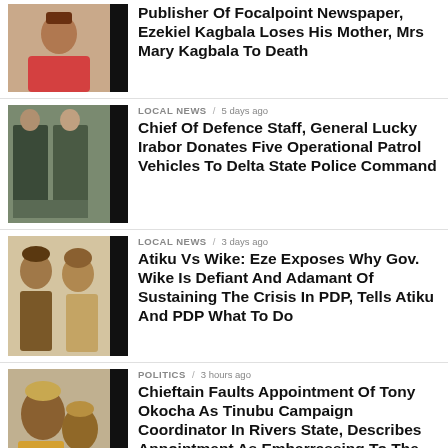[Figure (photo): Portrait of a man in pink shirt]
Publisher Of Focalpoint Newspaper, Ezekiel Kagbala Loses His Mother, Mrs Mary Kagbala To Death
[Figure (photo): Military officers in camouflage uniforms with equipment]
LOCAL NEWS / 5 days ago
Chief Of Defence Staff, General Lucky Irabor Donates Five Operational Patrol Vehicles To Delta State Police Command
[Figure (photo): Two men in traditional Nigerian attire]
LOCAL NEWS / 3 days ago
Atiku Vs Wike: Eze Exposes Why Gov. Wike Is Defiant And Adamant Of Sustaining The Crisis In PDP, Tells Atiku And PDP What To Do
[Figure (photo): Two men in traditional Nigerian attire]
POLITICS / 3 hours ago
Chieftain Faults Appointment Of Tony Okocha As Tinubu Campaign Coordinator In Rivers State, Describes Appointment As Embarrassing To The Collective Sensibility Of Committed Party Members In Rivers